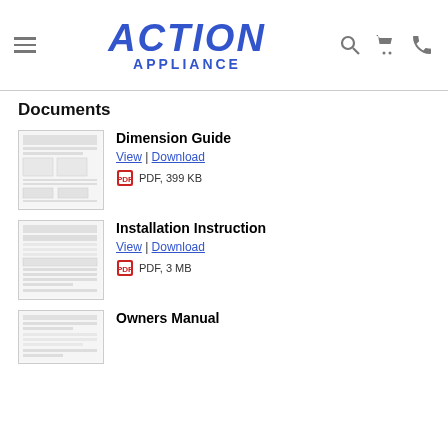ACTION APPLIANCE
Documents
[Figure (screenshot): Thumbnail preview of Dimension Guide PDF]
Dimension Guide
View | Download
PDF, 399 KB
[Figure (screenshot): Thumbnail preview of Installation Instruction PDF]
Installation Instruction
View | Download
PDF, 3 MB
[Figure (screenshot): Thumbnail preview of Owners Manual PDF]
Owners Manual